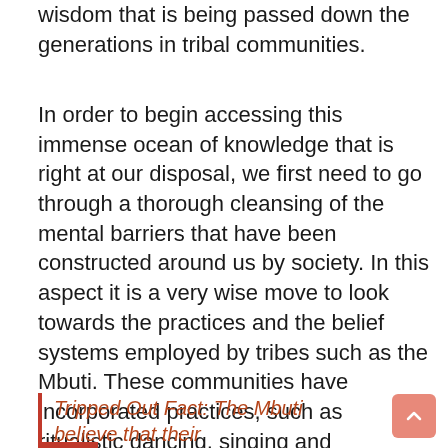wisdom that is being passed down the generations in tribal communities.
In order to begin accessing this immense ocean of knowledge that is right at our disposal, we first need to go through a thorough cleansing of the mental barriers that have been constructed around us by society. In this aspect it is a very wise move to look towards the practices and the belief systems employed by tribes such as the Mbuti. These communities have incorporated practices, such as ritualistic dancing, singing and celebrations to mark numerous special events and occasions in their daily lives. The Mbuti look towards the learnings and teachings of wisdom that their ancestors offer them through the voice of nature.
Tripped Out Fact: The Mbuti believe that their